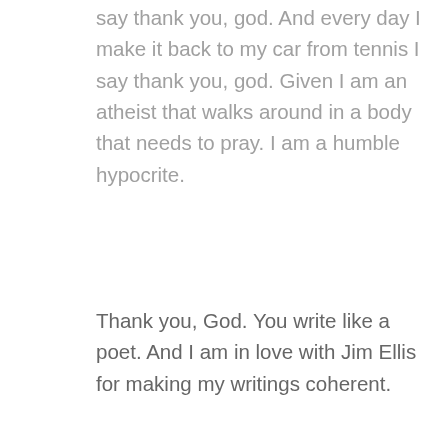say thank you, god. And every day I make it back to my car from tennis I say thank you, god. Given I am an atheist that walks around in a body that needs to pray. I am a humble hypocrite.
Thank you, God. You write like a poet. And I am in love with Jim Ellis for making my writings coherent.
Reply
Leave a Comment
Your email address will not be published.
Required fields are marked *